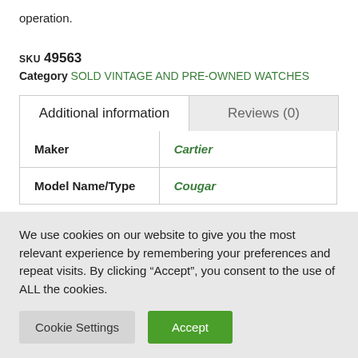operation.
SKU 49563
Category SOLD VINTAGE AND PRE-OWNED WATCHES
| Maker | Cartier |
| --- | --- |
| Model Name/Type | Cougar |
We use cookies on our website to give you the most relevant experience by remembering your preferences and repeat visits. By clicking “Accept”, you consent to the use of ALL the cookies.